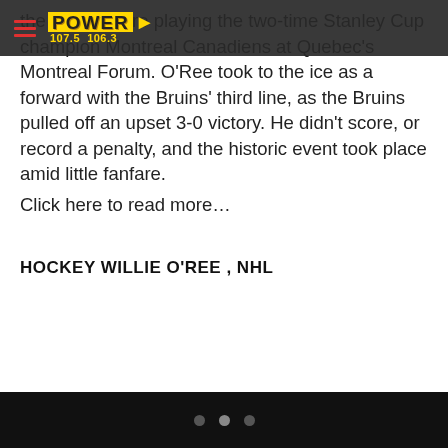POWER 107.5 106.3
the Bruins were playing the two-time Stanley Cup champion Montreal Canadiens at Quebec's Montreal Forum. O'Ree took to the ice as a forward with the Bruins' third line, as the Bruins pulled off an upset 3-0 victory. He didn't score, or record a penalty, and the historic event took place amid little fanfare.
Click here to read more…
HOCKEY WILLIE O'REE , NHL